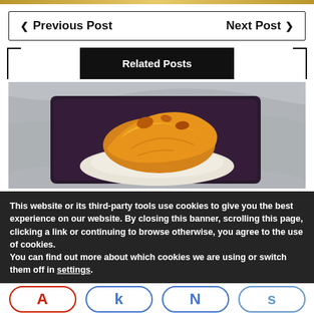Previous Post   Next Post
Related Posts
[Figure (photo): A cheesy baked food dish served on a dark square plate with a marble-style surface background]
This website or its third-party tools use cookies to give you the best experience on our website. By closing this banner, scrolling this page, clicking a link or continuing to browse otherwise, you agree to the use of cookies. You can find out more about which cookies we are using or switch them off in settings.
A k N s